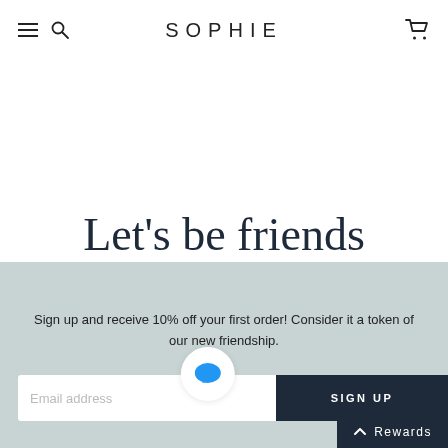SOPHIE
Let's be friends
Sign up and receive 10% off your first order! Consider it a token of our new friendship.
Email address
SIGN UP
Rewards